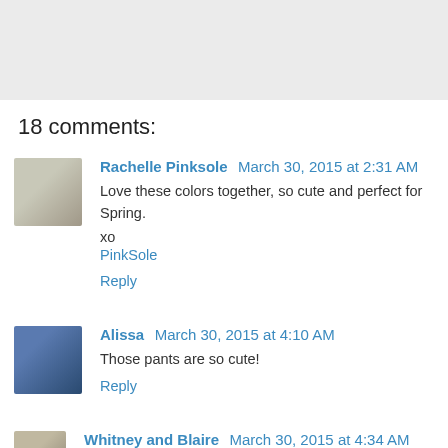[Figure (illustration): Gray banner/header bar at top of page]
18 comments:
Rachelle Pinksole March 30, 2015 at 2:31 AM
Love these colors together, so cute and perfect for Spring.

xo
PinkSole
Reply
Alissa March 30, 2015 at 4:10 AM
Those pants are so cute!
Reply
Whitney and Blaire March 30, 2015 at 4:34 AM